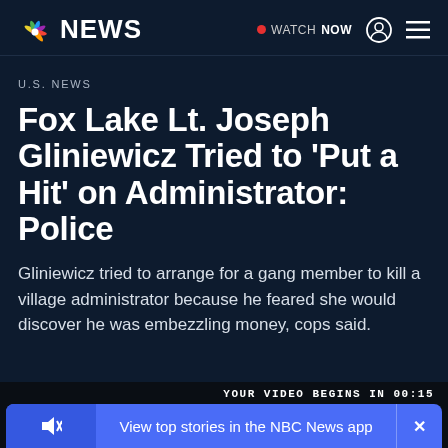NBC NEWS — WATCH NOW
U.S. NEWS
Fox Lake Lt. Joseph Gliniewicz Tried to 'Put a Hit' on Administrator: Police
Gliniewicz tried to arrange for a gang member to kill a village administrator because he feared she would discover he was embezzling money, cops said.
YOUR VIDEO BEGINS IN 00:15 — View top stories in the NBC News app